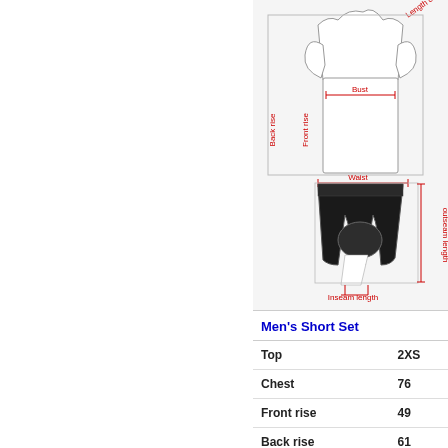[Figure (schematic): Clothing measurement diagram showing a cycling jersey with labeled measurements: Length of sleeve (top right, red text), Bust (horizontal arrow, red text), Front rise (vertical arrow on jersey front, red text), Back rise (vertical arrow on jersey back, red text); and cycling shorts with labeled measurements: Waist (top horizontal arrow, red text), Outseam length (right vertical arrow, red text), Inseam length (bottom arrow, red text).]
Men's Short Set
| Top | 2XS |
| --- | --- |
| Chest | 76 |
| Front rise | 49 |
| Back rise | 61 |